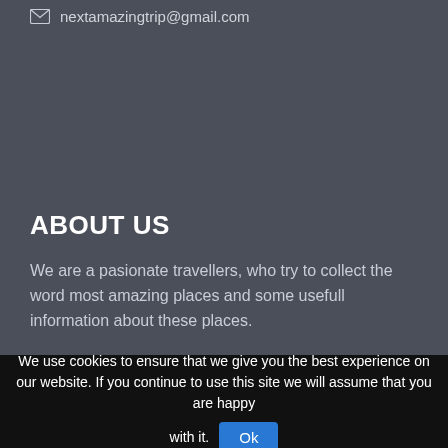nextamazingtrip@gmail.com
ABOUT US
We are a pasionate travellers, who try to collect the word most amazing places and some usefull information about these places.
We use cookies to ensure that we give you the best experience on our website. If you continue to use this site we will assume that you are happy with it.  Ok